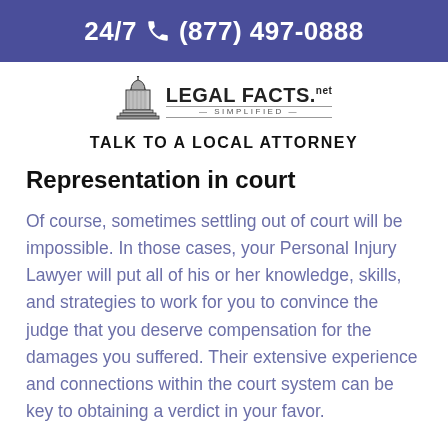24/7 (877) 497-0888
[Figure (logo): Legal Facts dot com - Simplified logo with capitol building icon]
TALK TO A LOCAL ATTORNEY
Representation in court
Of course, sometimes settling out of court will be impossible. In those cases, your Personal Injury Lawyer will put all of his or her knowledge, skills, and strategies to work for you to convince the judge that you deserve compensation for the damages you suffered. Their extensive experience and connections within the court system can be key to obtaining a verdict in your favor.